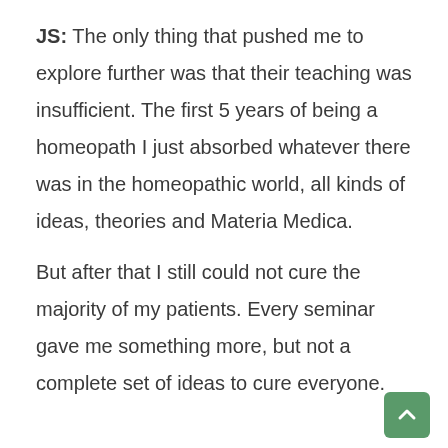JS: The only thing that pushed me to explore further was that their teaching was insufficient. The first 5 years of being a homeopath I just absorbed whatever there was in the homeopathic world, all kinds of ideas, theories and Materia Medica.

But after that I still could not cure the majority of my patients. Every seminar gave me something more, but not a complete set of ideas to cure everyone.